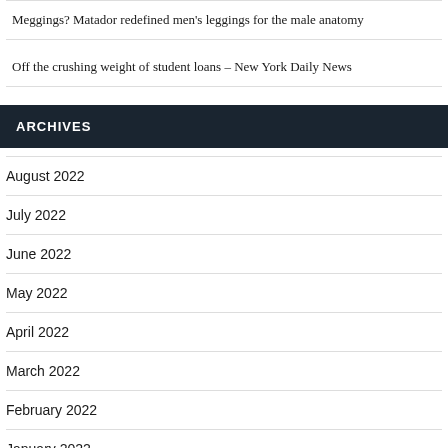Meggings? Matador redefined men's leggings for the male anatomy
Off the crushing weight of student loans – New York Daily News
ARCHIVES
August 2022
July 2022
June 2022
May 2022
April 2022
March 2022
February 2022
January 2022